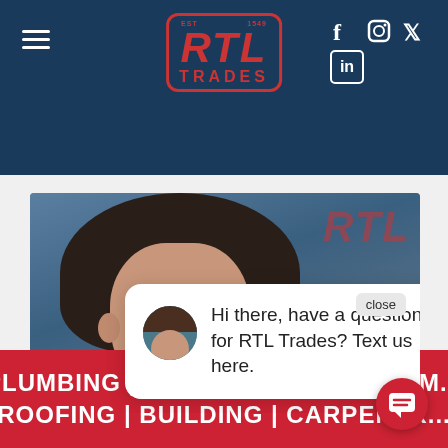RTL TRADES
[Figure (logo): RTL Trades logo with red text and border on dark blue background, EST on left and years on right]
[Figure (photo): Close-up photo of a person with dark hair against a background with RTL signage, with a chat popup overlay saying 'Hi there, have a question for RTL Trades? Text us here.' and a close button]
PLUMBING | ELECTRICAL | HANDYM...
ROOFING | BUILDING | CARPENTR...